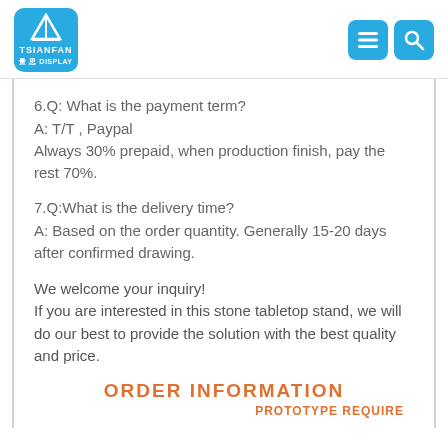[Figure (logo): TSIANFAN DISPLAY logo - white sailboat on blue rounded square background with text TSIANFAN and Chinese characters below]
6.Q: What is the payment term?
A: T/T , Paypal
Always 30% prepaid, when production finish, pay the rest 70%.
7.Q:What is the delivery time?
A: Based on the order quantity. Generally 15-20 days after confirmed drawing.
We welcome your inquiry!
If you are interested in this stone tabletop stand, we will do our best to provide the solution with the best quality and price.
ORDER INFORMATION
PROTOTYPE REQUIRE